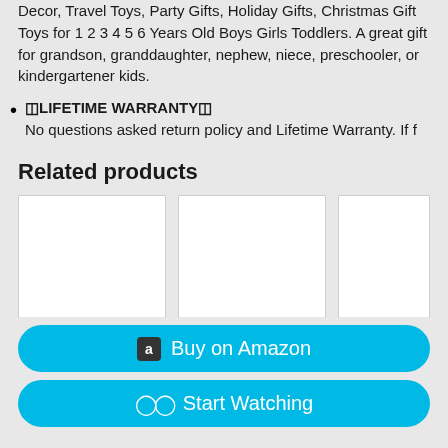Decor, Travel Toys, Party Gifts, Holiday Gifts, Christmas Gift Toys for 1 2 3 4 5 6 Years Old Boys Girls Toddlers. A great gift for grandson, granddaughter, nephew, niece, preschooler, or kindergartener kids.
🔲LIFETIME WARRANTY🔲
No questions asked return policy and Lifetime Warranty. If f
Related products
[Figure (other): Three white product card placeholders shown side by side]
Buy on Amazon
Start Watching